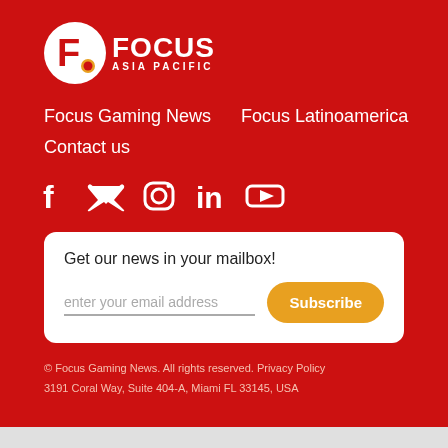[Figure (logo): Focus Asia Pacific logo — white circle with F and red dot, text FOCUS ASIA PACIFIC in white]
Focus Gaming News
Focus Latinoamerica
Contact us
[Figure (infographic): Social media icons: Facebook, Twitter, Instagram, LinkedIn, YouTube — all white on red background]
Get our news in your mailbox!
enter your email address
Subscribe
© Focus Gaming News. All rights reserved. Privacy Policy
3191 Coral Way, Suite 404-A, Miami FL 33145, USA